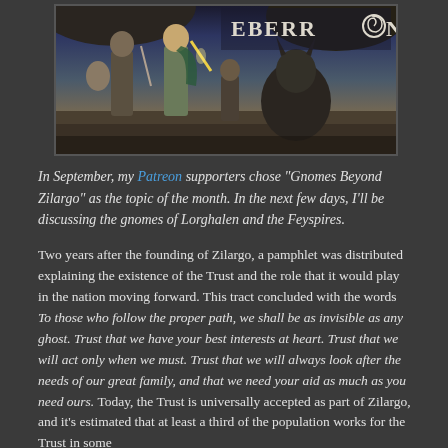[Figure (illustration): Eberron fantasy RPG book cover image showing armored adventurers in a dark cavernous setting with the EBERRON logo in the upper right with a spiral design replacing the O]
In September, my Patreon supporters chose "Gnomes Beyond Zilargo" as the topic of the month. In the next few days, I'll be discussing the gnomes of Lorghalen and the Feyspires.
Two years after the founding of Zilargo, a pamphlet was distributed explaining the existence of the Trust and the role that it would play in the nation moving forward. This tract concluded with the words To those who follow the proper path, we shall be as invisible as any ghost. Trust that we have your best interests at heart. Trust that we will act only when we must. Trust that we will always look after the needs of our great family, and that we need your aid as much as you need ours. Today, the Trust is universally accepted as part of Zilargo, and it's estimated that at least a third of the population works for the Trust in some